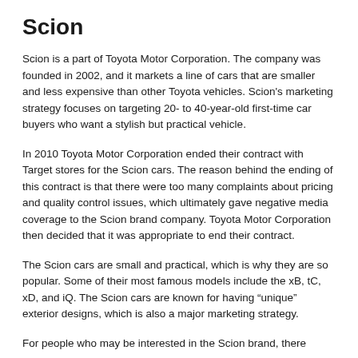Scion
Scion is a part of Toyota Motor Corporation. The company was founded in 2002, and it markets a line of cars that are smaller and less expensive than other Toyota vehicles. Scion's marketing strategy focuses on targeting 20- to 40-year-old first-time car buyers who want a stylish but practical vehicle.
In 2010 Toyota Motor Corporation ended their contract with Target stores for the Scion cars. The reason behind the ending of this contract is that there were too many complaints about pricing and quality control issues, which ultimately gave negative media coverage to the Scion brand company. Toyota Motor Corporation then decided that it was appropriate to end their contract.
The Scion cars are small and practical, which is why they are so popular. Some of their most famous models include the xB, tC, xD, and iQ. The Scion cars are known for having “unique” exterior designs, which is also a major marketing strategy.
For people who may be interested in the Scion brand, there